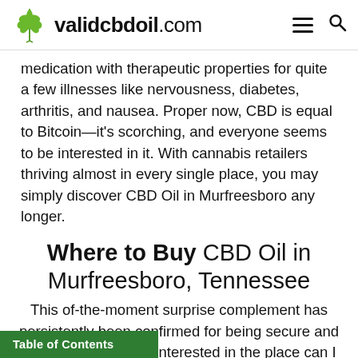validcbdoil.com
medication with therapeutic properties for quite a few illnesses like nervousness, diabetes, arthritis, and nausea. Proper now, CBD is equal to Bitcoin—it's scorching, and everyone seems to be interested in it. With cannabis retailers thriving almost in every single place, you may simply discover CBD Oil in Murfreesboro any longer.
Where to Buy CBD Oil in Murfreesboro, Tennessee
This of-the-moment surprise complement has persistently been confirmed for being secure and pure. In case you're interested in the place can I buy CBD Oil in Murfreesboro TN, the excellent news is that it's CBD pleasant. Native celebrities and athletes are vocal about its optimistic experiences, so the cts has elevated. You possibly can go